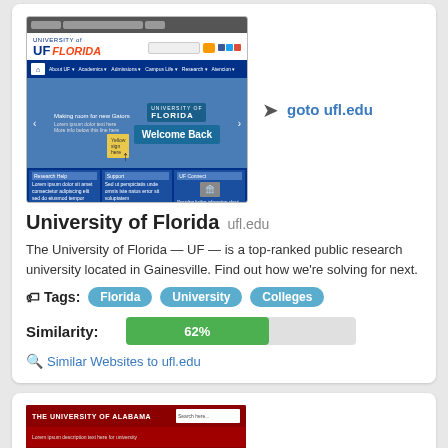[Figure (screenshot): Screenshot of University of Florida website (ufl.edu) showing the UF logo, navigation bar, hero image with 'Welcome Back' sign, and footer sections]
goto ufl.edu
University of Florida ufl.edu
The University of Florida — UF — is a top-ranked public research university located in Gainesville. Find out how we're solving for next.
Tags: Florida University Colleges
Similarity: 62%
Similar Websites to ufl.edu
[Figure (screenshot): Screenshot of The University of Alabama website showing red header with 'THE UNIVERSITY OF ALABAMA' text]